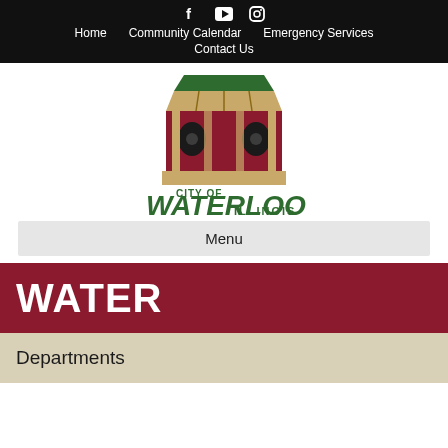f  ▶  ○  Home  Community Calendar  Emergency Services  Contact Us
[Figure (logo): City of Waterloo Illinois official city logo with building/gazebo illustration in dark red, tan and green, with green text 'CITY OF WATERLOO ILLINOIS']
Menu
WATER
Departments